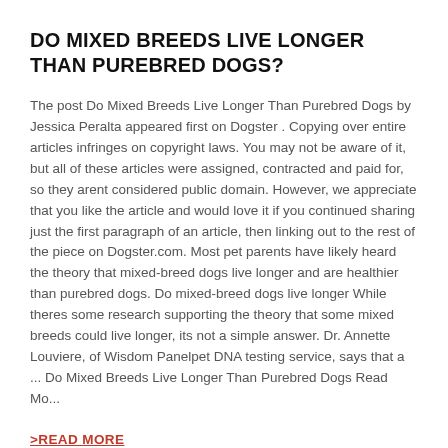DO MIXED BREEDS LIVE LONGER THAN PUREBRED DOGS?
The post Do Mixed Breeds Live Longer Than Purebred Dogs by Jessica Peralta appeared first on Dogster . Copying over entire articles infringes on copyright laws. You may not be aware of it, but all of these articles were assigned, contracted and paid for, so they arent considered public domain. However, we appreciate that you like the article and would love it if you continued sharing just the first paragraph of an article, then linking out to the rest of the piece on Dogster.com. Most pet parents have likely heard the theory that mixed-breed dogs live longer and are healthier than purebred dogs. Do mixed-breed dogs live longer While theres some research supporting the theory that some mixed breeds could live longer, its not a simple answer. Dr. Annette Louviere, of Wisdom Panelpet DNA testing service, says that a ... Do Mixed Breeds Live Longer Than Purebred Dogs Read Mo...
>READ MORE